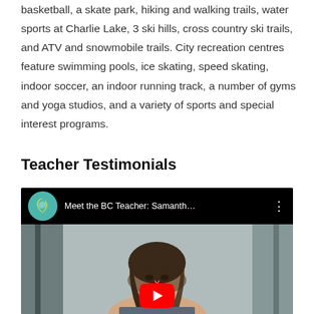basketball, a skate park, hiking and walking trails, water sports at Charlie Lake, 3 ski hills, cross country ski trails, and ATV and snowmobile trails. City recreation centres feature swimming pools, ice skating, speed skating, indoor soccer, an indoor running track, a number of gyms and yoga studios, and a variety of sports and special interest programs.
Teacher Testimonials
[Figure (screenshot): YouTube video thumbnail showing 'Meet the BC Teacher: Samanth...' with a BC Teachers' Federation logo and a woman being interviewed in a gym setting. A YouTube play button is visible at the bottom center.]